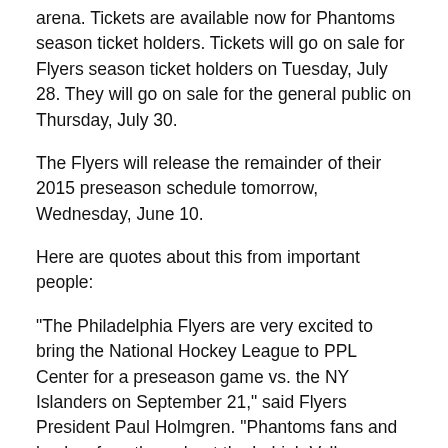arena. Tickets are available now for Phantoms season ticket holders. Tickets will go on sale for Flyers season ticket holders on Tuesday, July 28. They will go on sale for the general public on Thursday, July 30.
The Flyers will release the remainder of their 2015 preseason schedule tomorrow, Wednesday, June 10.
Here are quotes about this from important people:
"The Philadelphia Flyers are very excited to bring the National Hockey League to PPL Center for a preseason game vs. the NY Islanders on September 21," said Flyers President Paul Holmgren. "Phantoms fans and hockey fans throughout the Lehigh Valley are passionate about their hockey and we are thrilled that they have the opportunity to come watch their favorite NHL players, up close and personal."